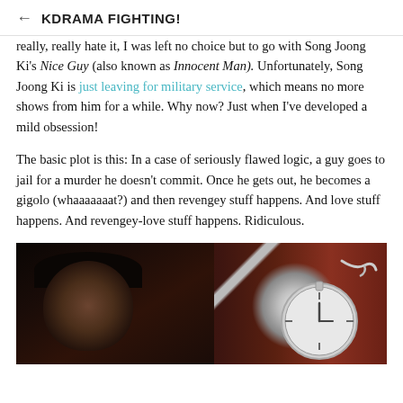← KDRAMA FIGHTING!
really, really hate it, I was left no choice but to go with Song Joong Ki's Nice Guy (also known as Innocent Man). Unfortunately, Song Joong Ki is just leaving for military service, which means no more shows from him for a while. Why now? Just when I've developed a mild obsession!
The basic plot is this: In a case of seriously flawed logic, a guy goes to jail for a murder he doesn't commit. Once he gets out, he becomes a gigolo (whaaaaaaat?) and then revengey stuff happens. And love stuff happens. And revengey-love stuff happens. Ridiculous.
[Figure (photo): Dark moody photo showing a young man's face on the left side against a very dark background, and a silver pocket watch with chain on the right side.]